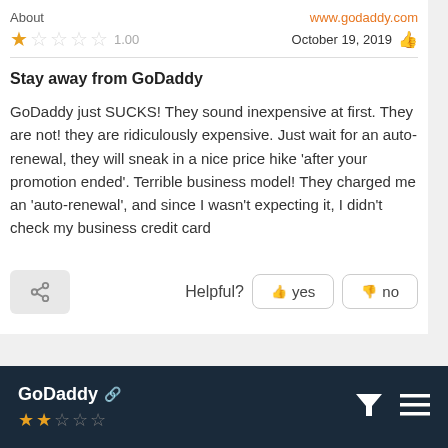About
www.godaddy.com
★☆☆☆☆ 1.00
October 19, 2019 👍
Stay away from GoDaddy
GoDaddy just SUCKS! They sound inexpensive at first. They are not! they are ridiculously expensive. Just wait for an auto-renewal, they will sneak in a nice price hike 'after your promotion ended'. Terrible business model! They charged me an 'auto-renewal', and since I wasn't expecting it, I didn't check my business credit card
Helpful? yes  no
GoDaddy ★★☆☆☆